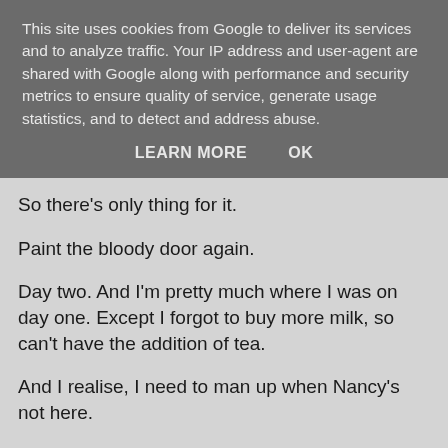This site uses cookies from Google to deliver its services and to analyze traffic. Your IP address and user-agent are shared with Google along with performance and security metrics to ensure quality of service, generate usage statistics, and to detect and address abuse.
LEARN MORE    OK
So there's only thing for it.
Paint the bloody door again.
Day two. And I'm pretty much where I was on day one. Except I forgot to buy more milk, so can't have the addition of tea.
And I realise, I need to man up when Nancy's not here.
And also accept I'm not Wonder Woman.
There are certain skills I have acquired as a consequence of becoming a parent. Typing an e-mail while a toddler sits on my foot playing horsey horsey, for example.